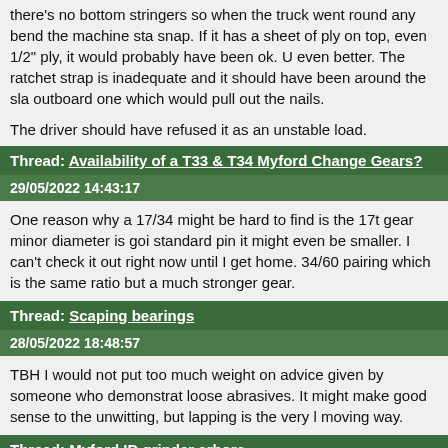there's no bottom stringers so when the truck went round any bend the machine sta snap. If it has a sheet of ply on top, even 1/2" ply, it would probably have been ok. U even better. The ratchet strap is inadequate and it should have been around the sla outboard one which would pull out the nails.
The driver should have refused it as an unstable load.
Thread: Availability of a T33 & T34 Myford Change Gears?
29/05/2022 14:43:17
One reason why a 17/34 might be hard to find is the 17t gear minor diameter is goi standard pin it might even be smaller. I can't check it out right now until I get home. 34/60 pairing which is the same ratio but a much stronger gear.
Thread: Scaping bearings
28/05/2022 18:48:57
TBH I would not put too much weight on advice given by someone who demonstrat loose abrasives. It might make good sense to the unwitting, but lapping is the very l moving way.
Thread: Myford ID grinder arbors
16/05/2022 18:07:49
Thanks Andrew. Your dims work out 3.486" / foot of taper my guess is that it's 3.5" / such things precisely.